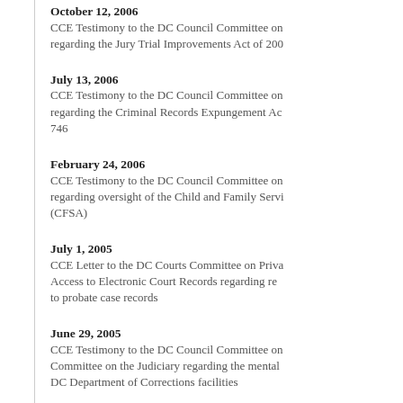October 12, 2006
CCE Testimony to the DC Council Committee on regarding the Jury Trial Improvements Act of 200
July 13, 2006
CCE Testimony to the DC Council Committee on regarding the Criminal Records Expungement Ac 746
February 24, 2006
CCE Testimony to the DC Council Committee on regarding oversight of the Child and Family Servi (CFSA)
July 1, 2005
CCE Letter to the DC Courts Committee on Priva Access to Electronic Court Records regarding re to probate case records
June 29, 2005
CCE Testimony to the DC Council Committee on Committee on the Judiciary regarding the mental DC Department of Corrections facilities